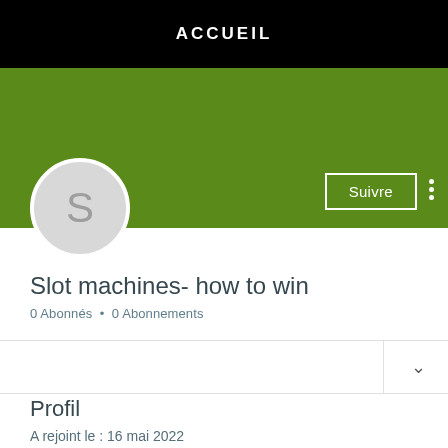ACCUEIL
[Figure (screenshot): Green profile banner with Suivre button and three-dot menu]
[Figure (illustration): Circular avatar with letter S on grey background]
Slot machines- how to win
0 Abonnés • 0 Abonnements
Profil
A rejoint le : 16 mai 2022